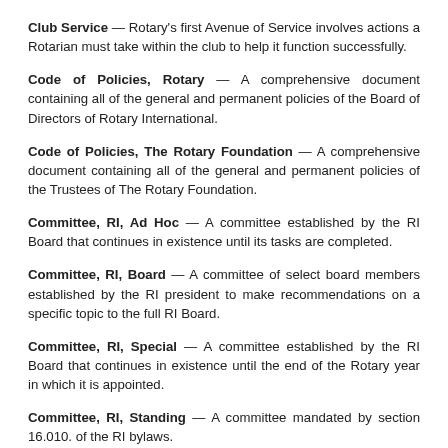Club Service — Rotary's first Avenue of Service involves actions a Rotarian must take within the club to help it function successfully.
Code of Policies, Rotary — A comprehensive document containing all of the general and permanent policies of the Board of Directors of Rotary International.
Code of Policies, The Rotary Foundation — A comprehensive document containing all of the general and permanent policies of the Trustees of The Rotary Foundation.
Committee, RI, Ad Hoc — A committee established by the RI Board that continues in existence until its tasks are completed.
Committee, RI, Board — A committee of select board members established by the RI president to make recommendations on a specific topic to the full RI Board.
Committee, RI, Special — A committee established by the RI Board that continues in existence until the end of the Rotary year in which it is appointed.
Committee, RI, Standing — A committee mandated by section 16.010. of the RI bylaws.